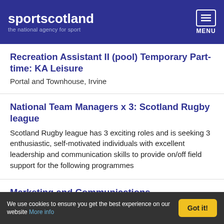sportscotland – the national agency for sport
Recreation Assistant II (pool) Temporary Part-time: KA Leisure
Portal and Townhouse, Irvine
National Team Managers x 3: Scotland Rugby league
Scotland Rugby league has 3 exciting roles and is seeking 3 enthusiastic, self-motivated individuals with excellent leadership and communication skills to provide on/off field support for the following programmes
Marketing and Communications
We use cookies to ensure you get the best experience on our website More info